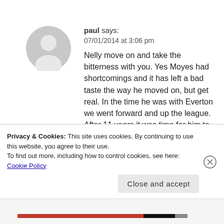[Figure (illustration): Gray avatar/profile silhouette icon — circular shape with person outline]
paul says:
07/01/2014 at 3:06 pm
Nelly move on and take the bitterness with you. Yes Moyes had shortcomings and it has left a bad taste the way he moved on, but get real. In the time he was with Everton we went forward and up the league. After 11 years it was time for him to go and us to take the next step. He brought some great players to the club, Some icons that we
Privacy & Cookies: This site uses cookies. By continuing to use this website, you agree to their use.
To find out more, including how to control cookies, see here: Cookie Policy
Close and accept